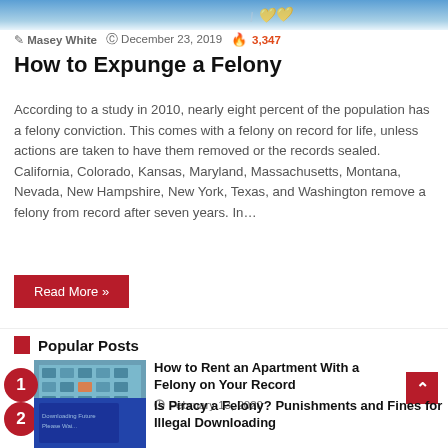[Figure (photo): Hero image at top — blue sky background with partial text signature visible]
Masey White  December 23, 2019  🔥 3,347
How to Expunge a Felony
According to a study in 2010, nearly eight percent of the population has a felony conviction. This comes with a felony on record for life, unless actions are taken to have them removed or the records sealed. California, Colorado, Kansas, Maryland, Massachusetts, Montana, Nevada, New Hampshire, New York, Texas, and Washington remove a felony from record after seven years. In…
Read More »
Popular Posts
How to Rent an Apartment With a Felony on Your Record
February 13, 2020
Is Piracy a Felony? Punishments and Fines for Illegal Downloading